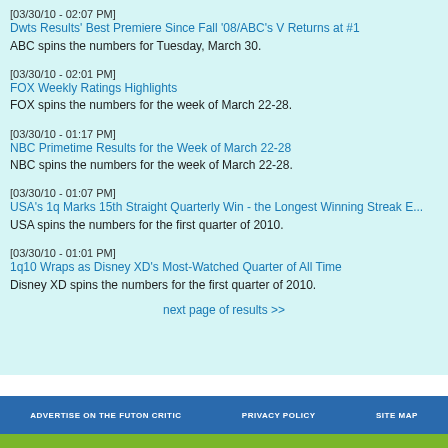[03/30/10 - 02:07 PM]
Dwts Results' Best Premiere Since Fall '08/ABC's V Returns at #1
ABC spins the numbers for Tuesday, March 30.
[03/30/10 - 02:01 PM]
FOX Weekly Ratings Highlights
FOX spins the numbers for the week of March 22-28.
[03/30/10 - 01:17 PM]
NBC Primetime Results for the Week of March 22-28
NBC spins the numbers for the week of March 22-28.
[03/30/10 - 01:07 PM]
USA's 1q Marks 15th Straight Quarterly Win - the Longest Winning Streak E...
USA spins the numbers for the first quarter of 2010.
[03/30/10 - 01:01 PM]
1q10 Wraps as Disney XD's Most-Watched Quarter of All Time
Disney XD spins the numbers for the first quarter of 2010.
next page of results >>
ADVERTISE ON THE FUTON CRITIC   PRIVACY POLICY   SITE MAP